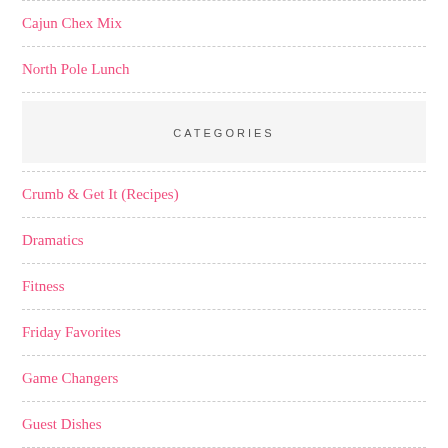Cajun Chex Mix
North Pole Lunch
CATEGORIES
Crumb & Get It (Recipes)
Dramatics
Fitness
Friday Favorites
Game Changers
Guest Dishes